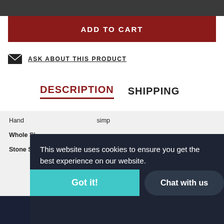ADD TO CART
ASK ABOUT THIS PRODUCT
DESCRIPTION   SHIPPING
Handmade... simply...
Whole Size:
Stone Size: 1.2" x 0.9"
This website uses cookies to ensure you get the best experience on our website.
Learn more
Got it!
Chat with us